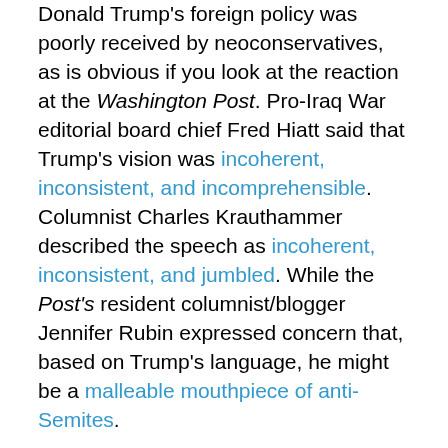Donald Trump's foreign policy was poorly received by neoconservatives, as is obvious if you look at the reaction at the Washington Post. Pro-Iraq War editorial board chief Fred Hiatt said that Trump's vision was incoherent, inconsistent, and incomprehensible. Columnist Charles Krauthammer described the speech as incoherent, inconsistent, and jumbled. While the Post's resident columnist/blogger Jennifer Rubin expressed concern that, based on Trump's language, he might be a malleable mouthpiece of anti-Semites.
If neoconservatives come pretty close to being always wrong, the Post's reaction might be considered the highest form of praise. Unfortunately, most of their criticisms are accurate. This is particularly true when they go after Trump for his looseness with the facts, his contradictory and mutually exclusive messages, and his praise of